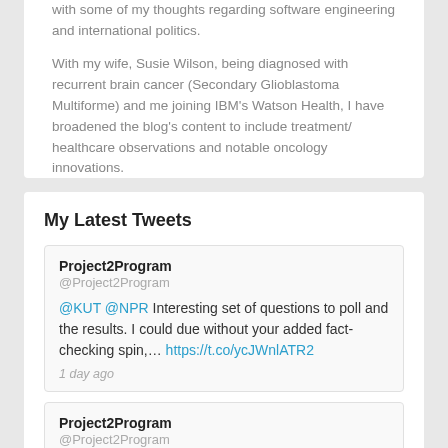with some of my thoughts regarding software engineering and international politics.
With my wife, Susie Wilson, being diagnosed with recurrent brain cancer (Secondary Glioblastoma Multiforme) and me joining IBM’s Watson Health, I have broadened the blog’s content to include treatment/ healthcare observations and notable oncology innovations.
Hopefully you find my blog informative.
My Latest Tweets
Project2Program
@Project2Program
@KUT @NPR Interesting set of questions to poll and the results. I could due without your added fact-checking spin,… https://t.co/ycJWnlATR2
1 day ago
Project2Program
@Project2Program
@smallick The August @IEEESpectrum issue is